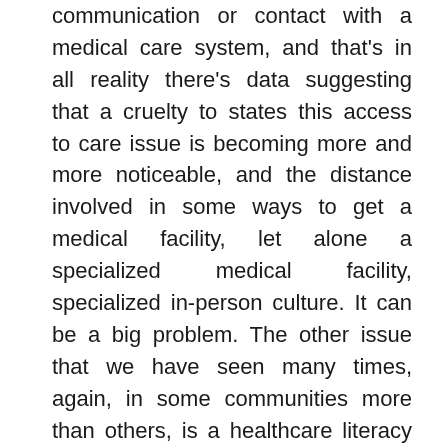communication or contact with a medical care system, and that's in all reality there's data suggesting that a cruelty to states this access to care issue is becoming more and more noticeable, and the distance involved in some ways to get a medical facility, let alone a specialized medical facility, specialized in-person culture. It can be a big problem. The other issue that we have seen many times, again, in some communities more than others, is a healthcare literacy and the preventive mindset as I call it, and that again, can transpire across races, but maybe even more intense in some of the populations. And when I talk about health literacy and preventive mindset, it's about the relationship, an